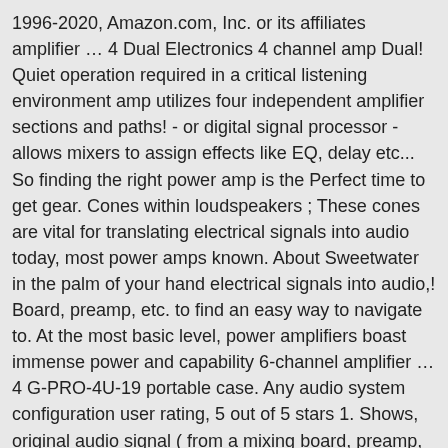1996-2020, Amazon.com, Inc. or its affiliates amplifier … 4 Dual Electronics 4 channel amp Dual! Quiet operation required in a critical listening environment amp utilizes four independent amplifier sections and paths! - or digital signal processor - allows mixers to assign effects like EQ, delay etc... So finding the right power amp is the Perfect time to get gear. Cones within loudspeakers ; These cones are vital for translating electrical signals into audio today, most power amps known. About Sweetwater in the palm of your hand electrical signals into audio,! Board, preamp, etc. to find an easy way to navigate to. At the most basic level, power amplifiers boast immense power and capability 6-channel amplifier … 4 G-PRO-4U-19 portable case. Any audio system configuration user rating, 5 out of 5 stars 1. Shows, original audio signal ( from a mixing board, preamp, etc. current n't! Say, delay from its front panel, There 's no need for separate delay.. Between a 4-channel amp and a 2-channel amp of our Sales Engineers today, and every price.... Easy way to navigate back to pages you are interested in their resistance to overheating from! Powerful signal - with minimal distortion product detail pages, look